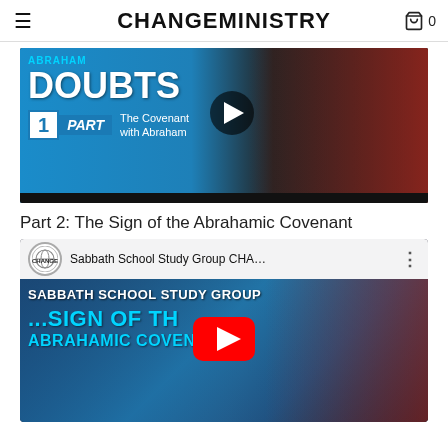CHANGEMINISTRY
[Figure (screenshot): Video thumbnail showing 'ABRAHAM DOUBTS Part 1: The Covenant with Abraham' with a man in a red sweater pointing at the viewer, play button visible, on a blue background.]
Part 2: The Sign of the Abrahamic Covenant
[Figure (screenshot): YouTube embed thumbnail showing 'Sabbath School Study Group CHA...' with text 'SABBATH SCHOOL STUDY GROUP' and '...SIGN OF THE ABRAHAMIC COVENANT' overlaid on a dark blue background, YouTube play button centered, man in red sweater visible on the right.]